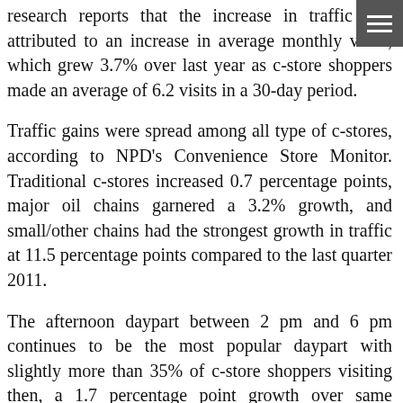research reports that the increase in traffic was attributed to an increase in average monthly visits, which grew 3.7% over last year as c-store shoppers made an average of 6.2 visits in a 30-day period.
Traffic gains were spread among all type of c-stores, according to NPD's Convenience Store Monitor. Traditional c-stores increased 0.7 percentage points, major oil chains garnered a 3.2% growth, and small/other chains had the strongest growth in traffic at 11.5 percentage points compared to the last quarter 2011.
The afternoon daypart between 2 pm and 6 pm continues to be the most popular daypart with slightly more than 35% of c-store shoppers visiting then, a 1.7 percentage point growth over same quarter year ago. In addition, the afternoon daypart realized a nearly 10-percentage point growth in traffic in the quarter. There was a slight decline in moderate and heavy c-store shoppers in the quarter,